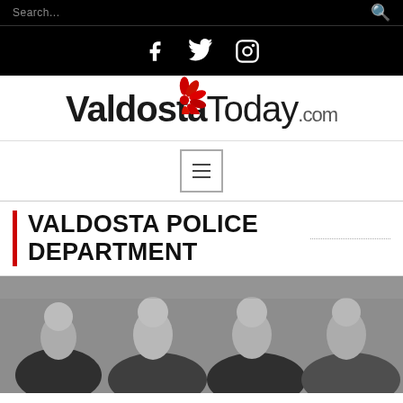Search...
[Figure (logo): Social media icons: Facebook, Twitter, Instagram on black background]
[Figure (logo): ValdostaToday.com logo with red flower graphic]
[Figure (other): Hamburger/menu navigation button]
VALDOSTA POLICE DEPARTMENT
[Figure (photo): Black and white photo of multiple people, group portrait]